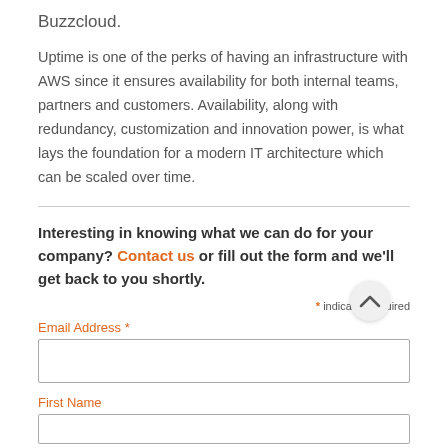Buzzcloud.
Uptime is one of the perks of having an infrastructure with AWS since it ensures availability for both internal teams, partners and customers. Availability, along with redundancy, customization and innovation power, is what lays the foundation for a modern IT architecture which can be scaled over time.
Interesting in knowing what we can do for your company? Contact us or fill out the form and we'll get back to you shortly.
* indicates required
Email Address *
First Name